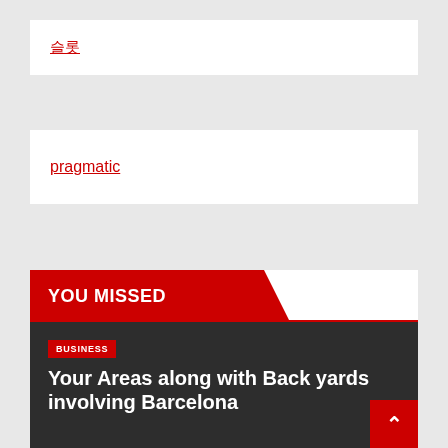슬롯
pragmatic
YOU MISSED
BUSINESS
Your Areas along with Back yards involving Barcelona